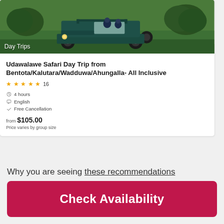[Figure (photo): A dark green jeep/safari vehicle driving through green grass fields, with trees and possibly elephants in the background. Label 'Day Trips' overlaid in white text at bottom left.]
Udawalawe Safari Day Trip from Bentota/Kalutara/Wadduwa/Ahungalla- All Inclusive
★★★★★ 16
4 hours
English
Free Cancellation
from $105.00
Price varies by group size
Why you are seeing these recommendations
Check Availability